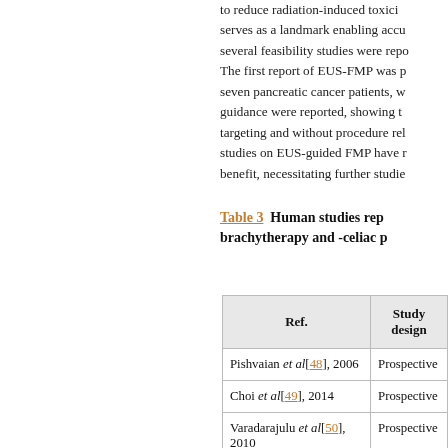to reduce radiation-induced toxicity. This serves as a landmark enabling accurate ... several feasibility studies were reported. The first report of EUS-FMP was performed in seven pancreatic cancer patients, where guidance were reported, showing that targeting and without procedure related ... studies on EUS-guided FMP have reported benefit, necessitating further studies.
Table 3   Human studies reporting brachytherapy and -celiac plexus ...
| Ref. | Study design |
| --- | --- |
| Pishvaian et al[48], 2006 | Prospective |
| Choi et al[49], 2014 | Prospective |
| Varadarajulu et al[50], 2010 | Prospective |